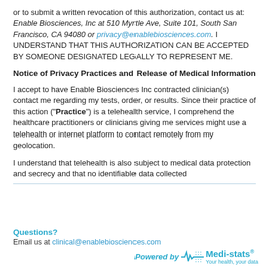or to submit a written revocation of this authorization, contact us at: Enable Biosciences, Inc at 510 Myrtle Ave, Suite 101, South San Francisco, CA 94080 or privacy@enablebiosciences.com. I UNDERSTAND THAT THIS AUTHORIZATION CAN BE ACCEPTED BY SOMEONE DESIGNATED LEGALLY TO REPRESENT ME.
Notice of Privacy Practices and Release of Medical Information
I accept to have Enable Biosciences Inc contracted clinician(s) contact me regarding my tests, order, or results. Since their practice of this action ("Practice") is a telehealth service, I comprehend the healthcare practitioners or clinicians giving me services might use a telehealth or internet platform to contact remotely from my geolocation.
I understand that telehealth is also subject to medical data protection and secrecy and that no identifiable data collected
Questions?
Email us at clinical@enablebiosciences.com
Powered by Medi-stats® Your health, your data